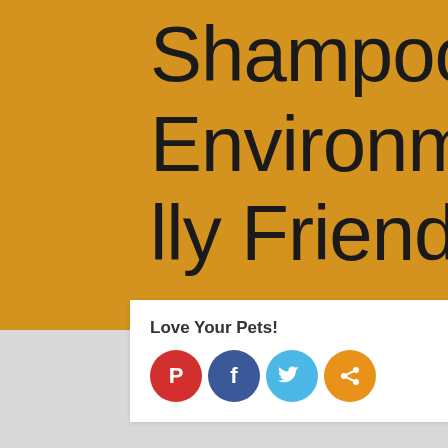Shampoo Environmentally Friendly?
Love Your Pets!
[Figure (infographic): Social sharing icons: Pinterest (red), Facebook (blue), Twitter (light blue), Share (orange)]